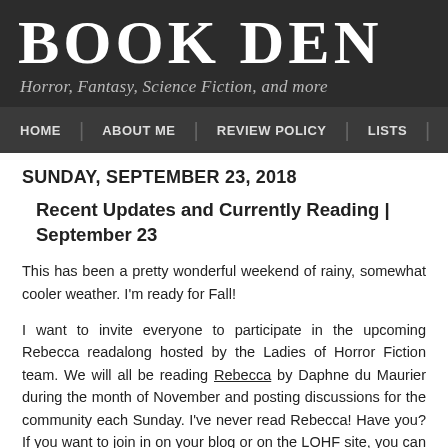BOOK DEN
Horror, Fantasy, Science Fiction, and more
HOME | ABOUT ME | REVIEW POLICY | LISTS
SUNDAY, SEPTEMBER 23, 2018
Recent Updates and Currently Reading | September 23
This has been a pretty wonderful weekend of rainy, somewhat cooler weather. I'm ready for Fall!
I want to invite everyone to participate in the upcoming Rebecca readalong hosted by the Ladies of Horror Fiction team. We will all be reading Rebecca by Daphne du Maurier during the month of November and posting discussions for the community each Sunday. I've never read Rebecca! Have you? If you want to join in on your blog or on the LOHF site, you can find all of the details on the Community Wide Readalong: Rebecca post.